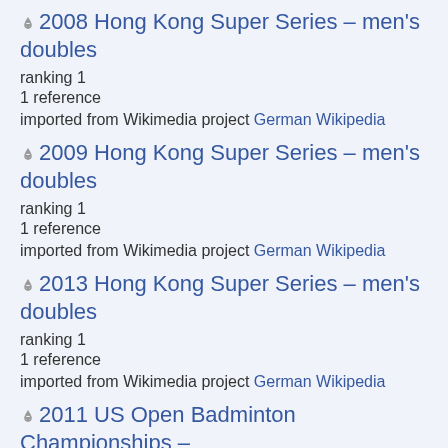2008 Hong Kong Super Series – men's doubles
ranking 1
1 reference
imported from Wikimedia project German Wikipedia
2009 Hong Kong Super Series – men's doubles
ranking 1
1 reference
imported from Wikimedia project German Wikipedia
2013 Hong Kong Super Series – men's doubles
ranking 1
1 reference
imported from Wikimedia project German Wikipedia
2011 US Open Badminton Championships –